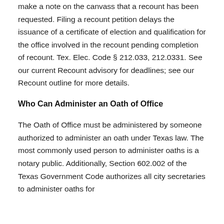make a note on the canvass that a recount has been requested. Filing a recount petition delays the issuance of a certificate of election and qualification for the office involved in the recount pending completion of recount. Tex. Elec. Code § 212.033, 212.0331. See our current Recount advisory for deadlines; see our Recount outline for more details.
Who Can Administer an Oath of Office
The Oath of Office must be administered by someone authorized to administer an oath under Texas law. The most commonly used person to administer oaths is a notary public. Additionally, Section 602.002 of the Texas Government Code authorizes all city secretaries to administer oaths for